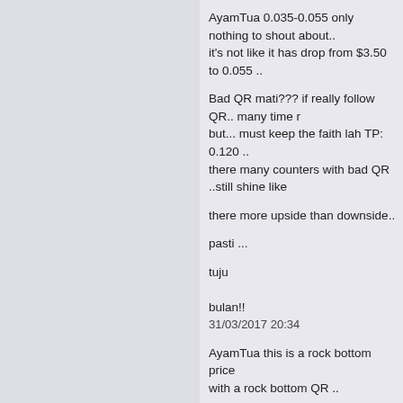AyamTua 0.035-0.055 only
nothing to shout about..
it's not like it has drop from $3.50 to 0.055 ..
Bad QR mati??? if really follow QR.. many time r
but... must keep the faith lah TP: 0.120 ..
there many counters with bad QR ..still shine like
there more upside than downside..
pasti ...
tuju
bulan!!
31/03/2017 20:34
AyamTua this is a rock bottom price
with a rock bottom QR ..
when things already at the bottom
the only for it to go is??? UP!!
kikikikiki
31/03/2017 20:41
ktsk88 The previous same period year profit of 2
3mil.
Whereas the latest result of losses 6 Mil compris